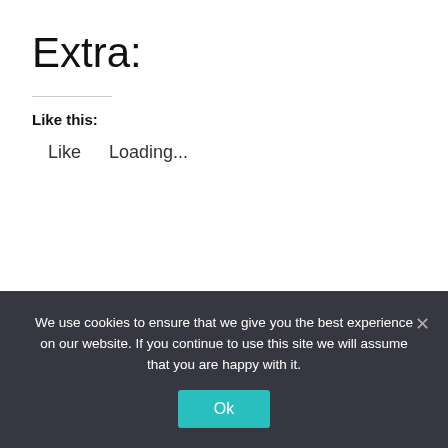Extra:
Like this:
Like    Loading...
We use cookies to ensure that we give you the best experience on our website. If you continue to use this site we will assume that you are happy with it.
Ok